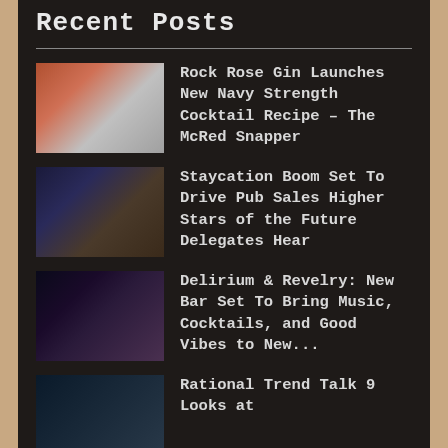Recent Posts
Rock Rose Gin Launches New Navy Strength Cocktail Recipe – The McRed Snapper
Staycation Boom Set To Drive Pub Sales Higher Stars of the Future Delegates Hear
Delirium & Revelry: New Bar Set To Bring Music, Cocktails, and Good Vibes to New...
Rational Trend Talk 9 Looks at